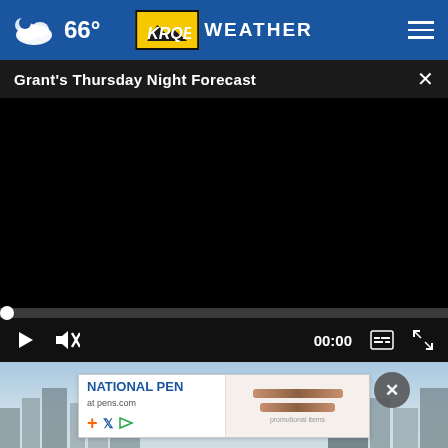66° KRQE WEATHER
Grant's Thursday Night Forecast
[Figure (screenshot): Black video player screen, paused at 00:00, with play button, mute icon, time display 00:00, captions icon, and fullscreen icon in controls bar]
[Figure (screenshot): Bottom portion showing a city landscape photo with a National Pen advertisement banner overlay and a close (X) button]